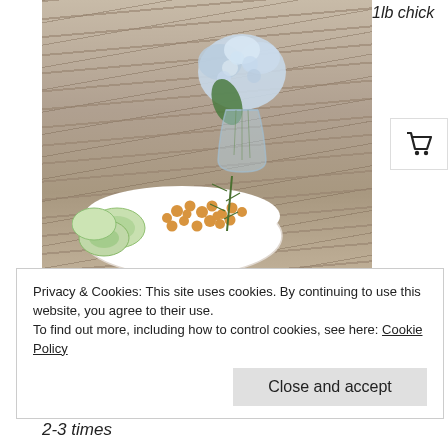[Figure (photo): Food photo showing a bowl of seasoned chickpeas with cucumber slices and rosemary sprig, a glass vase with blue hydrangea flowers, all on a rustic wooden deck/table surface]
1lb chick
Privacy & Cookies: This site uses cookies. By continuing to use this website, you agree to their use.
To find out more, including how to control cookies, see here: Cookie Policy
Close and accept
peas/garbanzo beans, soak for 12-24 hours, then rinse 2-3 times